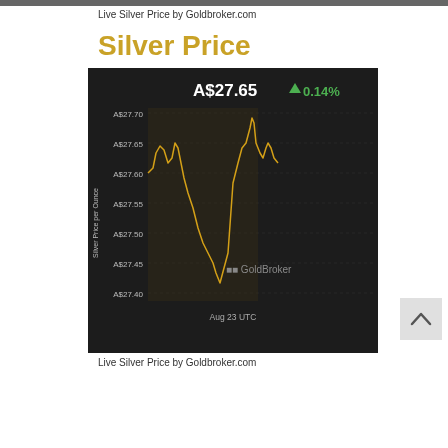Live Silver Price by Goldbroker.com
Silver Price
[Figure (continuous-plot): Live silver price line chart on dark background showing intraday price movements for Aug 23 UTC. Y-axis shows price in A$ per ounce from A$27.40 to A$27.70. Current price shown as A$27.65 with +0.14% change. The line shows a volatile pattern: initial peak around A$27.65, drop to ~A$27.45, recovery to A$27.70 peak, then settling around A$27.65. Chart branded with GoldBroker logo.]
Live Silver Price by Goldbroker.com